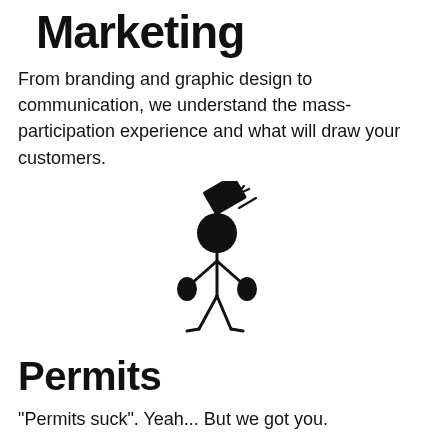Marketing
From branding and graphic design to communication, we understand the mass-participation experience and what will draw your customers.
[Figure (illustration): Stick figure person with a large dark square/book hitting their head, with motion lines indicating impact, and wearing boxing gloves.]
Permits
"Permits suck". Yeah... But we got you.